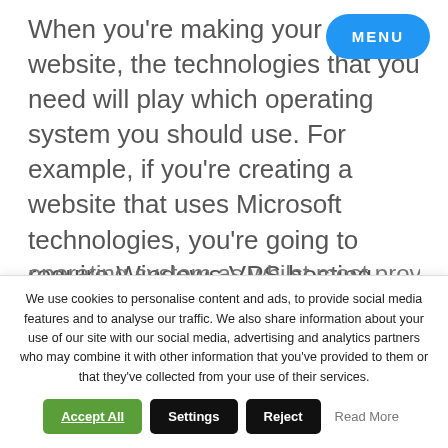When you're making your website, the technologies that you need will play which operating system you should use. For example, if you're creating a website that uses Microsoft technologies, you're going to require Windows VPS hosting. Always double-check that a web hosting provider offers the type of hosting that you need for your operating system as whilst most provide Linux...
[Figure (other): Blue pill-shaped MENU button in the top right corner]
We use cookies to personalise content and ads, to provide social media features and to analyse our traffic. We also share information about your use of our site with our social media, advertising and analytics partners who may combine it with other information that you've provided to them or that they've collected from your use of their services.
Accept All
Settings
Reject
Read More